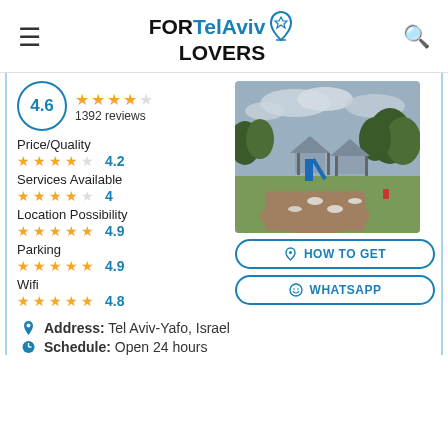FOR Tel Aviv LOVERS
4.6 ★★★★★ 1392 reviews
[Figure (photo): Outdoor park with playground equipment, shade structures, trees and green grass under a cloudy sky.]
Price/Quality ★★★★☆ 4.2
Services Available ★★★★☆ 4
Location Possibility ★★★★★ 4.9
Parking ★★★★★ 4.9
Wifi ★★★★★ 4.8
HOW TO GET
WHATSAPP
Address: Tel Aviv-Yafo, Israel
Schedule: Open 24 hours